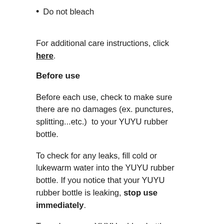Do not bleach
For additional care instructions, click here.
Before use
Before each use, check to make sure there are no damages (ex. punctures, splitting...etc.)  to your YUYU rubber bottle.
To check for any leaks, fill cold or lukewarm water into the YUYU rubber bottle. If you notice that your YUYU rubber bottle is leaking, stop use immediately.
To replace your YUYU rubber bottle, head to the Accessories page.
When not in use
When not in use, keep your YUYU Bottle empty of water and stored in a cool, dry, dark place. We recommend hanging the bottle upside down with the stopper off so that the bottle stays dry inside. Please